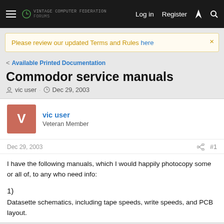Log in  Register
Please review our updated Terms and Rules here
< Available Printed Documentation
Commodor service manuals
vic user · Dec 29, 2003
vic user
Veteran Member
Dec 29, 2003  #1
I have the following manuals, which I would happily photocopy some or all of, to any who need info:

1)
Datasette schematics, including tape speeds, write speeds, and PCB layout.